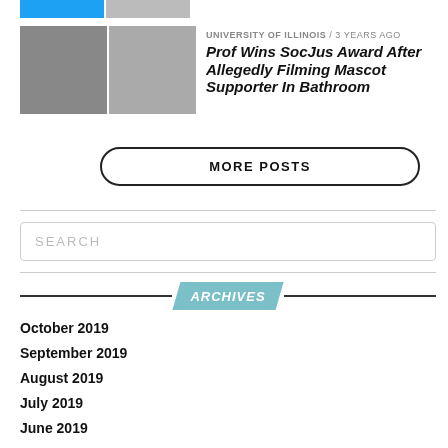[Figure (photo): Two small thumbnail images at top: a blue Twitter bird icon and a gray person silhouette]
[Figure (photo): Two side-by-side portrait photos of men]
UNIVERSITY OF ILLINOIS / 3 years ago
Prof Wins SocJus Award After Allegedly Filming Mascot Supporter In Bathroom
MORE POSTS
SEARCH
ARCHIVES
October 2019
September 2019
August 2019
July 2019
June 2019
May 2019